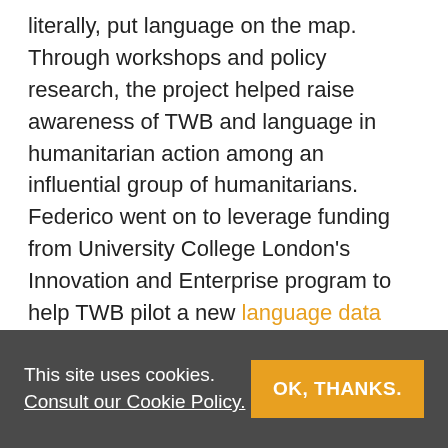literally, put language on the map. Through workshops and policy research, the project helped raise awareness of TWB and language in humanitarian action among an influential group of humanitarians. Federico went on to leverage funding from University College London's Innovation and Enterprise program to help TWB pilot a new language data and mapping project. As a direct result, TWB was able to produce maps and datasets for nine crisis-affected countries around the world, and laid a solid foundation for future mapping efforts. Federico shares a passion for TWB's mission and is creative in helping reach the organization's goals.
This site uses cookies. Consult our Cookie Policy. OK, THANKS.